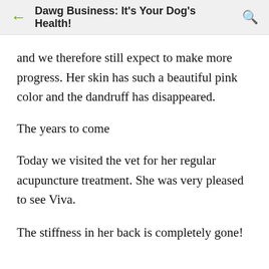Dawg Business: It's Your Dog's Health!
and we therefore still expect to make more progress. Her skin has such a beautiful pink color and the dandruff has disappeared.
The years to come
Today we visited the vet for her regular acupuncture treatment. She was very pleased to see Viva.
The stiffness in her back is completely gone!